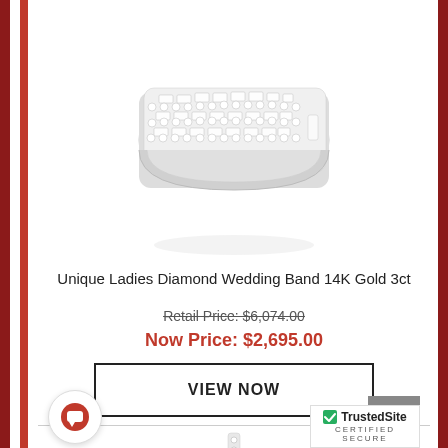[Figure (photo): Diamond wedding band ring with multiple rows of baguette and round diamonds set in white gold, photographed on white background]
Unique Ladies Diamond Wedding Band 14K Gold 3ct
Retail Price: $6,074.00
Now Price: $2,695.00
VIEW NOW
[Figure (photo): Diamond cross pendant necklace set with round diamonds in white gold, partially visible at bottom of page]
[Figure (logo): TrustedSite Certified Secure badge with green checkmark]
[Figure (other): Live chat icon - red speech bubble with white chat symbol]
[Figure (other): Scroll to top button - grey arrow pointing upward]